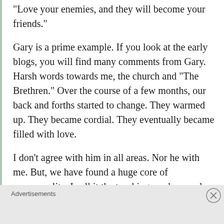“Love your enemies, and they will become your friends.”
Gary is a prime example. If you look at the early blogs, you will find many comments from Gary. Harsh words towards me, the church and “The Brethren.” Over the course of a few months, our back and forths started to change. They warmed up. They became cordial. They eventually became filled with love.
I don’t agree with him in all areas. Nor he with me. But, we have found a huge core of commonality. I call it the teachings and example of Jesus Christ. Yeah, Gary dishes it on regarding
Advertisements